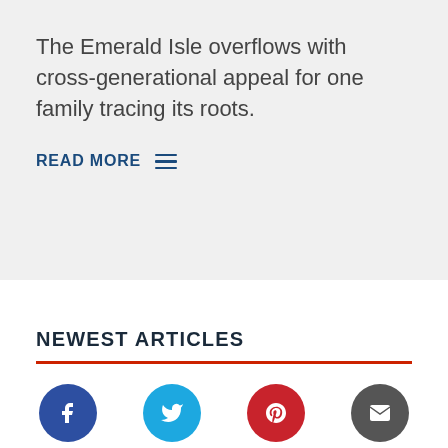The Emerald Isle overflows with cross-generational appeal for one family tracing its roots.
READ MORE
NEWEST ARTICLES
[Figure (photo): Thumbnail photo of a bowl with green soup or stew]
[Figure (infographic): Social share buttons: Facebook (blue circle), Twitter (cyan circle), Pinterest (red circle), Email (dark grey circle)]